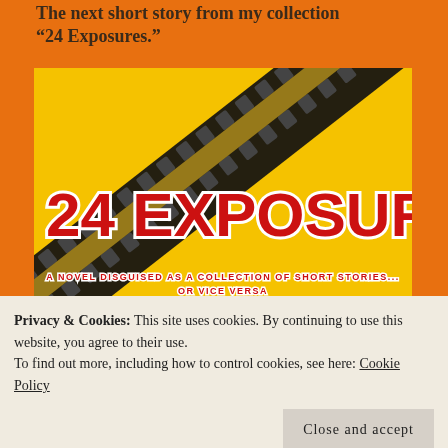The next short story from my collection “24 Exposures.”
[Figure (illustration): Book cover for '24 Exposures' — yellow background with diagonal film strip running from bottom-left to top-right, large red bold text '24 EXPOSURES', subtitle 'A NOVEL DISGUISED AS A COLLECTION OF SHORT STORIES... OR VICE VERSA']
Privacy & Cookies: This site uses cookies. By continuing to use this website, you agree to their use.
To find out more, including how to control cookies, see here: Cookie Policy
Close and accept